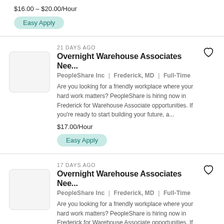$16.00 – $20.00/Hour
Easy Apply
21 DAYS AGO
Overnight Warehouse Associates Nee...
PeopleShare Inc | Frederick, MD | Full-Time
Are you looking for a friendly workplace where your hard work matters? PeopleShare is hiring now in Frederick for Warehouse Associate opportunities. If you're ready to start building your future, a...
$17.00/Hour
Easy Apply
17 DAYS AGO
Overnight Warehouse Associates Nee...
PeopleShare Inc | Frederick, MD | Full-Time
Are you looking for a friendly workplace where your hard work matters? PeopleShare is hiring now in Frederick for Warehouse Associate opportunities. If you're ready to start building your future, a...
$17.00/Hour